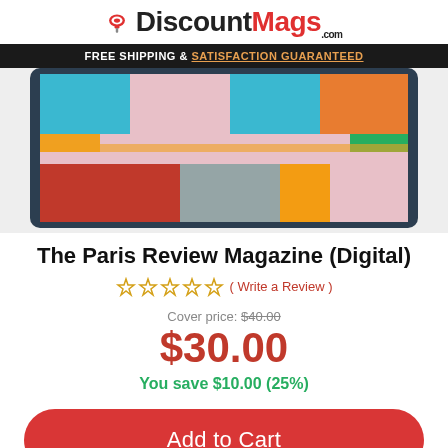DiscountMags.com — FREE SHIPPING & SATISFACTION GUARANTEED
[Figure (photo): Tablet device displaying colorful abstract art magazine cover]
The Paris Review Magazine (Digital)
☆☆☆☆☆ (Write a Review)
Cover price: $40.00
$30.00
You save $10.00 (25%)
Add to Cart